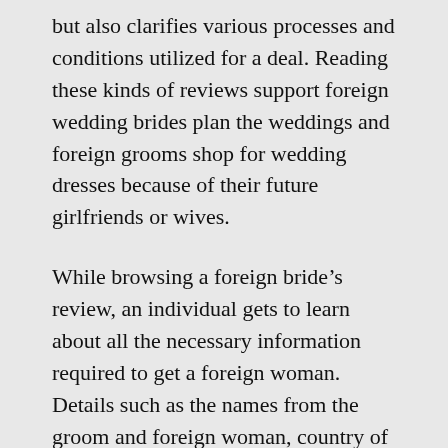but also clarifies various processes and conditions utilized for a deal. Reading these kinds of reviews support foreign wedding brides plan the weddings and foreign grooms shop for wedding dresses because of their future girlfriends or wives.
While browsing a foreign bride's review, an individual gets to learn about all the necessary information required to get a foreign woman. Details such as the names from the groom and foreign woman, country of birth, the proposed marital relationship date, and also other important details need to be searched into. A brief history of both the young families is also mentioned, so that foreign brides incorporate